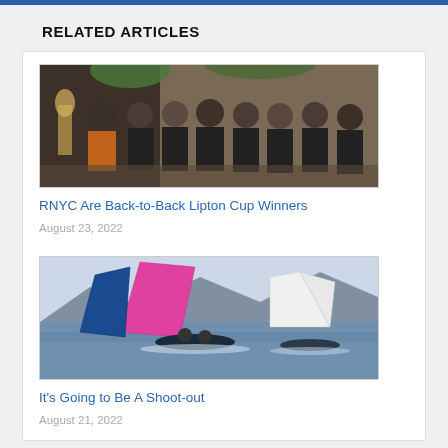RELATED ARTICLES
[Figure (photo): Group of people in black jackets celebrating with a trophy in an indoor venue, likely a yacht club bar or restaurant setting.]
RNYC Are Back-to-Back Lipton Cup Winners
August 23, 2022
[Figure (photo): Sailing boats with colorful spinnakers (pink and white) racing on the water with a mountainous coastline in the background.]
It's Going to Be A Shoot-out
August 21, 2022